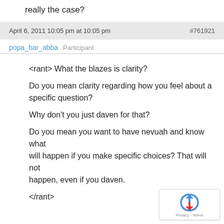really the case?
April 6, 2011 10:05 pm at 10:05 pm   #761921
popa_bar_abba   Participant
<rant> What the blazes is clarity?

Do you mean clarity regarding how you feel about a specific question?

Why don't you just daven for that?

Do you mean you want to have nevuah and know what will happen if you make specific choices? That will not happen, even if you daven.

</rant>